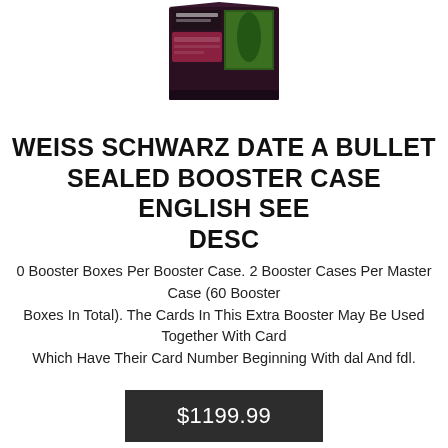[Figure (photo): Product image of Weiss Schwarz Date A Bullet Sealed Booster Case box, dark maroon and black packaging with card game imagery, shown at top of page]
WEISS SCHWARZ DATE A BULLET SEALED BOOSTER CASE ENGLISH SEE DESC
0 Booster Boxes Per Booster Case. 2 Booster Cases Per Master Case (60 Booster Boxes In Total). The Cards In This Extra Booster May Be Used Together With Cards Which Have Their Card Number Beginning With dal And fdl.
$1199.99
[Figure (photo): Bottom of page shows top portion of a second product image, dark cylindrical/bottle shaped item on white background]